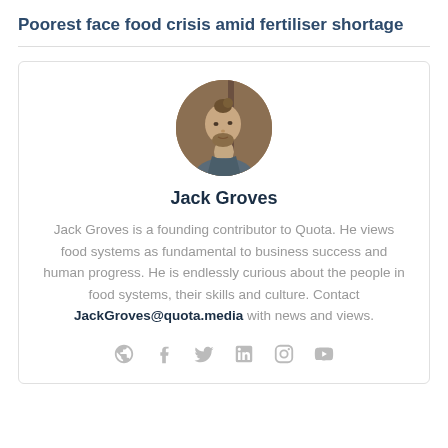Poorest face food crisis amid fertiliser shortage
[Figure (photo): Circular profile photo of Jack Groves, a man with a beard and bun hairstyle, wearing a grey hoodie, photographed against a wooden background]
Jack Groves
Jack Groves is a founding contributor to Quota. He views food systems as fundamental to business success and human progress. He is endlessly curious about the people in food systems, their skills and culture. Contact JackGroves@quota.media with news and views.
[Figure (infographic): Row of social media icons: globe/web, Facebook, Twitter, LinkedIn, Instagram, YouTube]